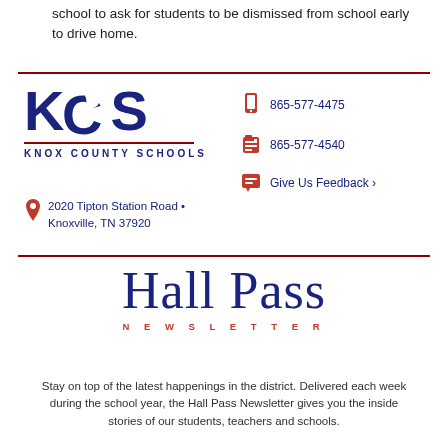school to ask for students to be dismissed from school early to drive home.
[Figure (logo): KCS Knox County Schools logo with apple graphic and red underline]
2020 Tipton Station Road • Knoxville, TN 37920
865-577-4475
865-577-4540
Give Us Feedback ›
[Figure (logo): Hall Pass Newsletter logo in blue serif with red letter-spaced subtitle]
Stay on top of the latest happenings in the district. Delivered each week during the school year, the Hall Pass Newsletter gives you the inside stories of our students, teachers and schools.